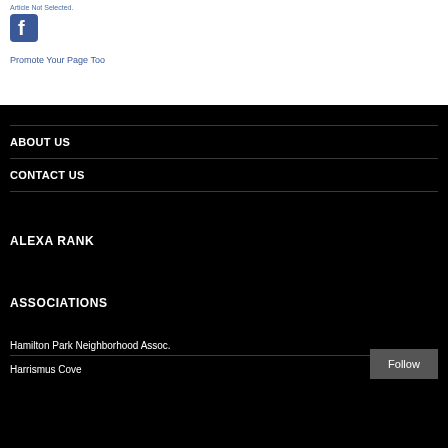Promote Your Page Too
ABOUT US
CONTACT US
ALEXA RANK
ASSOCIATIONS
Hamilton Park Neighborhood Assoc.
Harrrimus Cove
Follow